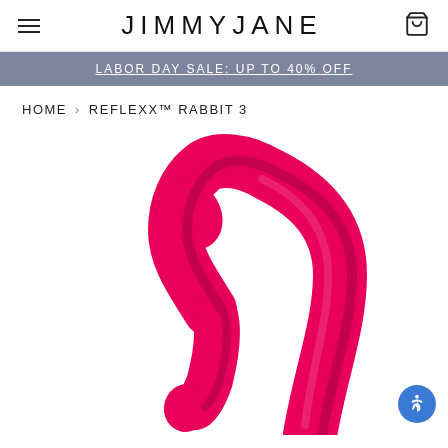JIMMYJANE
LABOR DAY SALE: UP TO 40% OFF
HOME › REFLEXX™ RABBIT 3
[Figure (photo): Pink REFLEXX™ Rabbit 3 vibrator product photo on white background, showing the curved two-pronged silicone device in hot pink/magenta color]